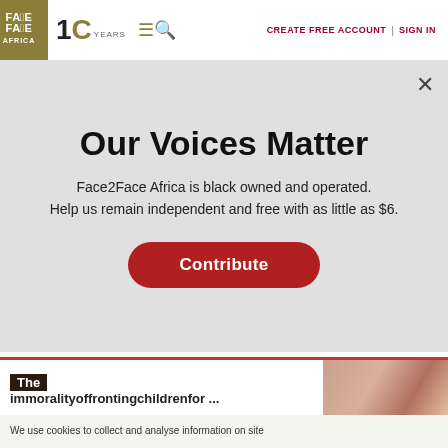[Figure (logo): Face2Face Africa logo with golden background, white text showing face illustration and AFRICA text]
10 YEARS
CREATE FREE ACCOUNT | SIGN IN
Our Voices Matter
Face2Face Africa is black owned and operated. Help us remain independent and free with as little as $6.
Contribute
The immoralityoffrontingchildrenfor ...
We use cookies to collect and analyse information on site performance and usage, and to enhance and customise content and advertisements. By Clicking "Accept" or by clicking into any content on this site, you agree to allow cookies to be placed. To find out more, read our privacy policy.
ACCEPT